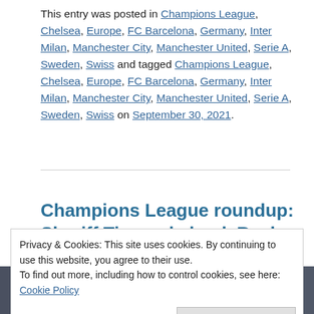This entry was posted in Champions League, Chelsea, Europe, FC Barcelona, Germany, Inter Milan, Manchester City, Manchester United, Serie A, Sweden, Swiss and tagged Champions League, Chelsea, Europe, FC Barcelona, Germany, Inter Milan, Manchester City, Manchester United, Serie A, Sweden, Swiss on September 30, 2021.
Champions League roundup: Sheriff Tiraspol shock Real Madrid
Privacy & Cookies: This site uses cookies. By continuing to use this website, you agree to their use.
To find out more, including how to control cookies, see here: Cookie Policy
Close and accept
[Figure (photo): Photo strip at the bottom showing people, partially visible]